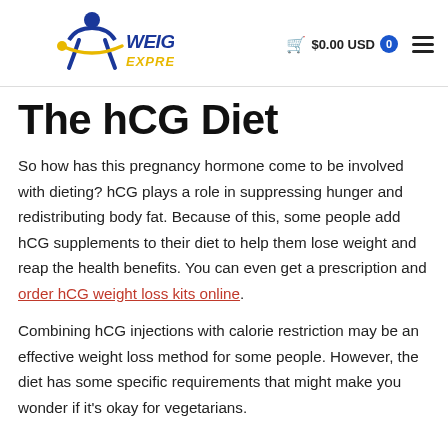WeightLoss Express — $0.00 USD
The hCG Diet
So how has this pregnancy hormone come to be involved with dieting? hCG plays a role in suppressing hunger and redistributing body fat. Because of this, some people add hCG supplements to their diet to help them lose weight and reap the health benefits. You can even get a prescription and order hCG weight loss kits online.
Combining hCG injections with calorie restriction may be an effective weight loss method for some people. However, the diet has some specific requirements that might make you wonder if it's okay for vegetarians.